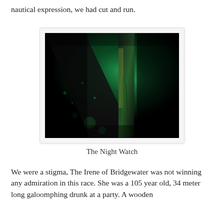nautical expression, we had cut and run.
[Figure (photo): Dark underwater or low-light nautical photograph with green glowing light illuminating ropes, wooden beams, and hull structure. The image is moody and dark with deep green tones.]
The Night Watch
We were a stigma, The Irene of Bridgewater was not winning any admiration in this race. She was a 105 year old, 34 meter long galoomphing drunk at a party. A wooden